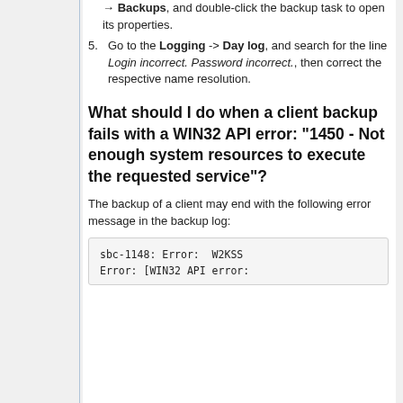Backups, and double-click the backup task to open its properties.
5. Go to the Logging -> Day log, and search for the line Login incorrect. Password incorrect., then correct the respective name resolution.
What should I do when a client backup fails with a WIN32 API error: "1450 - Not enough system resources to execute the requested service"?
The backup of a client may end with the following error message in the backup log:
sbc-1148: Error:  W2KSS
Error: [WIN32 API error: